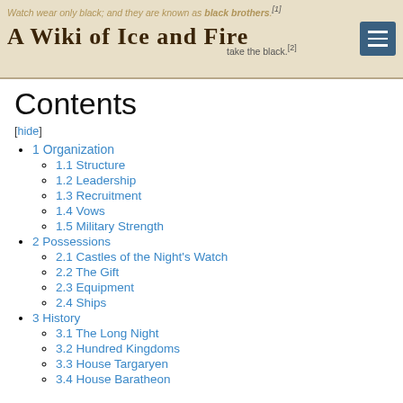Watch wear only black; and they are known as black brothers. ... take the black. A Wiki of Ice and Fire
Contents
[hide]
1 Organization
1.1 Structure
1.2 Leadership
1.3 Recruitment
1.4 Vows
1.5 Military Strength
2 Possessions
2.1 Castles of the Night's Watch
2.2 The Gift
2.3 Equipment
2.4 Ships
3 History
3.1 The Long Night
3.2 Hundred Kingdoms
3.3 House Targaryen
3.4 House Baratheon